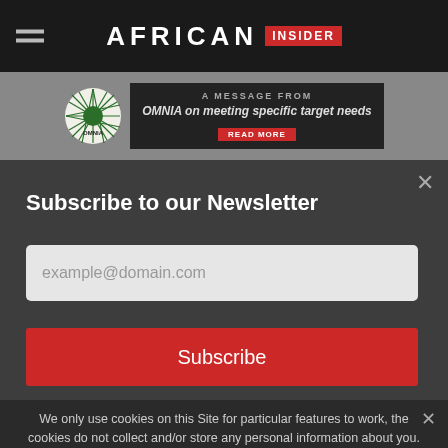AFRICAN INSIDER
[Figure (infographic): OMNIA advertisement banner: A MESSAGE FROM / OMNIA on meeting specific target needs / READ MORE]
Subscribe to our Newsletter
example@domain.com
Subscribe
We only use cookies on this Site for particular features to work, the cookies do not collect and/or store any personal information about you.
Ok